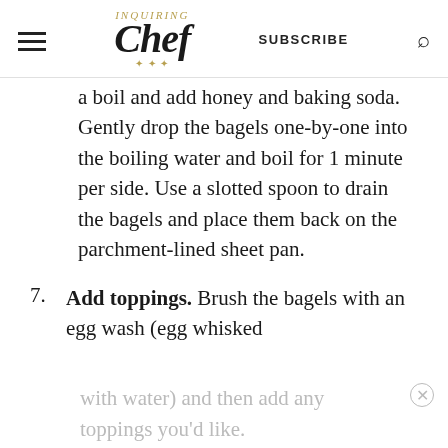Inquiring Chef | SUBSCRIBE
a boil and add honey and baking soda. Gently drop the bagels one-by-one into the boiling water and boil for 1 minute per side. Use a slotted spoon to drain the bagels and place them back on the parchment-lined sheet pan.
7. Add toppings. Brush the bagels with an egg wash (egg whisked with water) and then add any toppings you'd like.